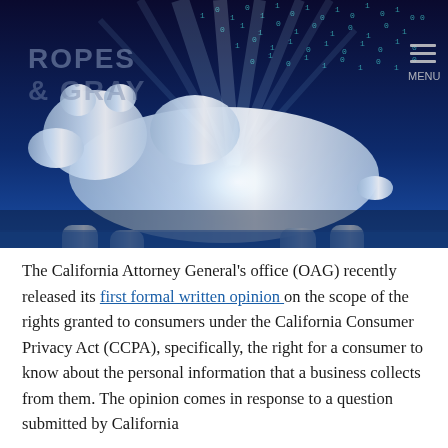[Figure (illustration): A digital illustration of a California bear silhouette glowing with white/blue light and binary code particles streaming from behind it, on a dark blue background. The Ropes & Gray logo text appears faintly in the upper left. A menu icon appears in the upper right.]
The California Attorney General's office (OAG) recently released its first formal written opinion on the scope of the rights granted to consumers under the California Consumer Privacy Act (CCPA), specifically, the right for a consumer to know about the personal information that a business collects from them. The opinion comes in response to a question submitted by California